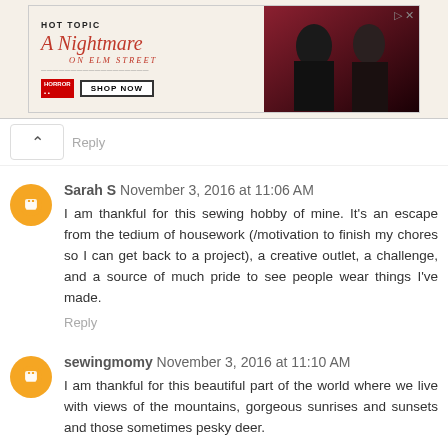[Figure (screenshot): Hot Topic advertisement banner for A Nightmare on Elm Street merchandise with Shop Now button and two people in dark clothing on right side]
Reply
Sarah S  November 3, 2016 at 11:06 AM
I am thankful for this sewing hobby of mine. It's an escape from the tedium of housework (/motivation to finish my chores so I can get back to a project), a creative outlet, a challenge, and a source of much pride to see people wear things I've made.
Reply
sewingmomy  November 3, 2016 at 11:10 AM
I am thankful for this beautiful part of the world where we live with views of the mountains, gorgeous sunrises and sunsets and those sometimes pesky deer.